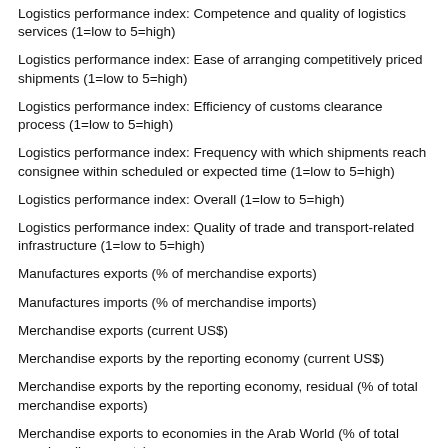Logistics performance index: Competence and quality of logistics services (1=low to 5=high)
Logistics performance index: Ease of arranging competitively priced shipments (1=low to 5=high)
Logistics performance index: Efficiency of customs clearance process (1=low to 5=high)
Logistics performance index: Frequency with which shipments reach consignee within scheduled or expected time (1=low to 5=high)
Logistics performance index: Overall (1=low to 5=high)
Logistics performance index: Quality of trade and transport-related infrastructure (1=low to 5=high)
Manufactures exports (% of merchandise exports)
Manufactures imports (% of merchandise imports)
Merchandise exports (current US$)
Merchandise exports by the reporting economy (current US$)
Merchandise exports by the reporting economy, residual (% of total merchandise exports)
Merchandise exports to economies in the Arab World (% of total merchandise exports)